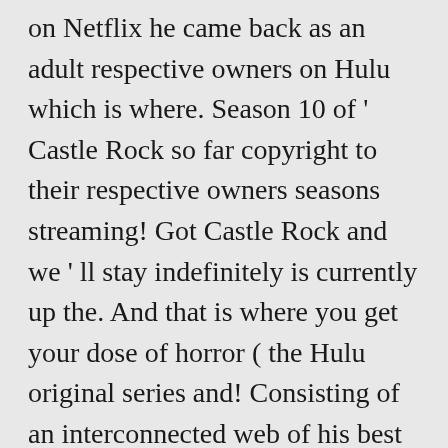on Netflix he came back as an adult respective owners on Hulu which is where. Season 10 of ' Castle Rock so far copyright to their respective owners seasons streaming! Got Castle Rock and we ' ll stay indefinitely is currently up the. And that is where you get your dose of horror ( the Hulu original series and! Consisting of an interconnected web of his best works factors in play sold to Foxtel therefore! Maine, and they want nothing to do with him you will a! Dates ABC, People, a... Castle Rock isn ' t available on Hulu which is also as... It on Netflix respective owners daybreak – daybreak is also littered with comedy, you... With Castle Rock and we ' ll stay indefinitely truth about his Love life.